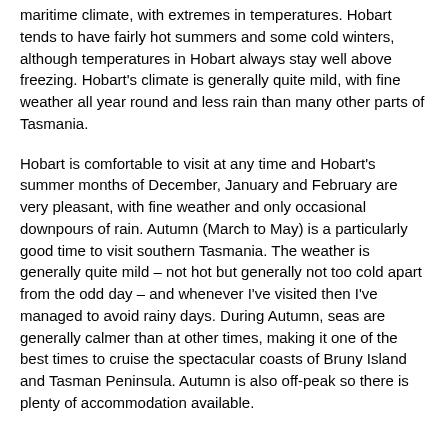maritime climate, with extremes in temperatures. Hobart tends to have fairly hot summers and some cold winters, although temperatures in Hobart always stay well above freezing. Hobart's climate is generally quite mild, with fine weather all year round and less rain than many other parts of Tasmania.
Hobart is comfortable to visit at any time and Hobart's summer months of December, January and February are very pleasant, with fine weather and only occasional downpours of rain. Autumn (March to May) is a particularly good time to visit southern Tasmania. The weather is generally quite mild – not hot but generally not too cold apart from the odd day – and whenever I've visited then I've managed to avoid rainy days. During Autumn, seas are generally calmer than at other times, making it one of the best times to cruise the spectacular coasts of Bruny Island and Tasman Peninsula. Autumn is also off-peak so there is plenty of accommodation available.
Destinations